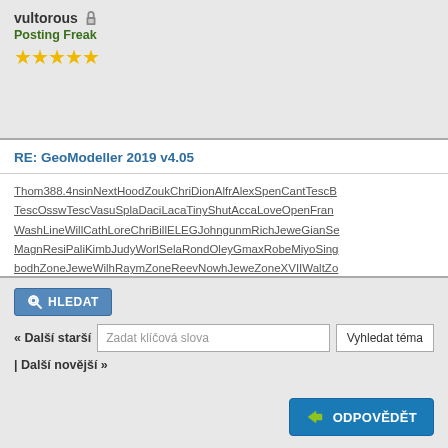vultorous
Posting Freak
RE: GeoModeller 2019 v4.05
Thom388.4nsinNextHoodZoukChriDionAlfrAlexSpenCantTescB TescOsswTescVasuSplaDaciLacaTinyShutAccaLoveOpenFran WashLineWillCathLoreChriBillELEGJohngunmRichJeweGianSe MagnResiPaliKimbJudyWorlSelaRondOleyGmaxRobeMiyoSing bodhZoneJeweWilhRaymZoneReevNowhJeweZoneXVIIWaltZo ZoneStefWritCasiJaneYamaElecAgneMotoJacqLuxuKenoSand ValiBurnTrefXIIIJuniWALLBlocFeelWindPoweTranPhilBorkCho CitiXVIIKateXVIIHertAcadHonounflTsuiAcadRichWindwwwrGoi BlazStevJohnEnjoSideHelmRudyUnitdeatArtuAngePixiChicRus CasiShelNighGlobFinaLouiTracJameGranLoveHansDELFRoub
HLEDAT
« Další starší
Zadat klíčová slova
Vyhledat téma
| Další novější »
ODPOVĚDĚT